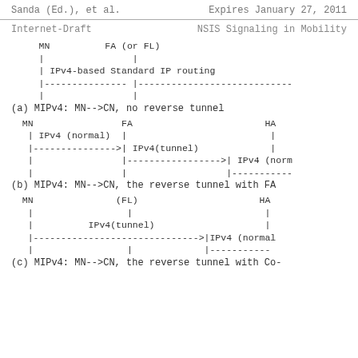Sanda (Ed.), et al.    Expires January 27, 2011
Internet-Draft         NSIS Signaling in Mobility
[Figure (other): Diagram (a): MIPv4 MN-->CN, no reverse tunnel. Shows MN and FA (or FL) nodes with vertical bars and a dashed horizontal arrow indicating IPv4-based Standard IP routing between them.]
(a) MIPv4: MN-->CN, no reverse tunnel
[Figure (other): Diagram (b): MIPv4 MN-->CN, the reverse tunnel with FA. Shows MN, FA, and HA nodes. IPv4 (normal) segment from MN to FA, then IPv4(tunnel) from FA to HA, then IPv4 (norm...) from HA onward. Dashed arrows indicate routing segments.]
(b) MIPv4: MN-->CN, the reverse tunnel with FA
[Figure (other): Diagram (c): MIPv4 MN-->CN, the reverse tunnel with Co-. Shows MN, (FL), and HA nodes. IPv4(tunnel) segment in middle, dashed arrow from MN to HA indicating routing, IPv4 (normal) at HA.]
(c) MIPv4: MN-->CN, the reverse tunnel with Co-